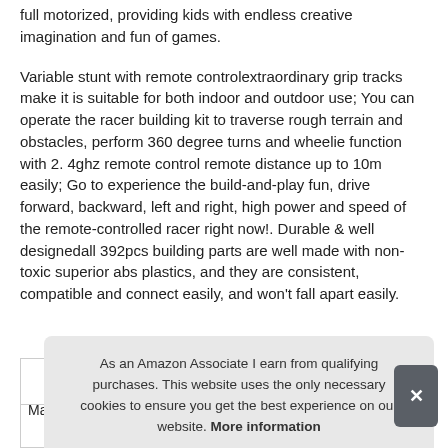full motorized, providing kids with endless creative imagination and fun of games.
Variable stunt with remote controlextraordinary grip tracks make it is suitable for both indoor and outdoor use; You can operate the racer building kit to traverse rough terrain and obstacles, perform 360 degree turns and wheelie function with 2. 4ghz remote control remote distance up to 10m easily; Go to experience the build-and-play fun, drive forward, backward, left and right, high power and speed of the remote-controlled racer right now!. Durable & well designedall 392pcs building parts are well made with non-toxic superior abs plastics, and they are consistent, compatible and connect easily, and won't fall apart easily.
As an Amazon Associate I earn from qualifying purchases. This website uses the only necessary cookies to ensure you get the best experience on our website. More information